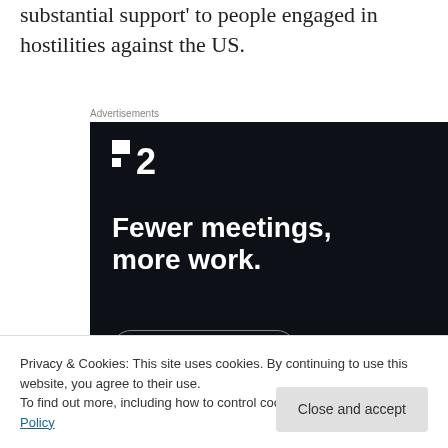substantial support' to people engaged in hostilities against the US.
Advertisements
[Figure (screenshot): Advertisement for Basecamp/HEY product showing dark background with logo '≡2', headline 'Fewer meetings, more work.' and a 'Get started for free' button.]
Privacy & Cookies: This site uses cookies. By continuing to use this website, you agree to their use.
To find out more, including how to control cookies, see here: Cookie Policy